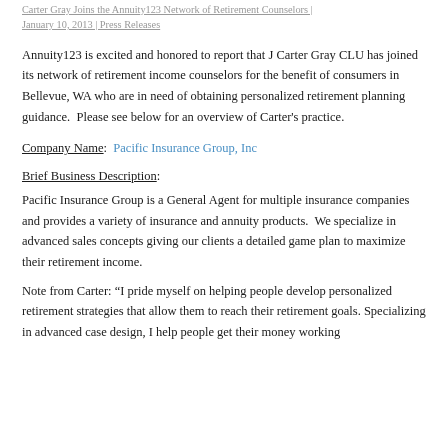Carter Gray Joins the Annuity123 Network of Retirement Counselors | January 10, 2013 | Press Releases
Annuity123 is excited and honored to report that J Carter Gray CLU has joined its network of retirement income counselors for the benefit of consumers in Bellevue, WA who are in need of obtaining personalized retirement planning guidance.  Please see below for an overview of Carter’s practice.
Company Name:  Pacific Insurance Group, Inc
Brief Business Description:
Pacific Insurance Group is a General Agent for multiple insurance companies and provides a variety of insurance and annuity products.  We specialize in advanced sales concepts giving our clients a detailed game plan to maximize their retirement income.
Note from Carter: “I pride myself on helping people develop personalized retirement strategies that allow them to reach their retirement goals. Specializing in advanced case design, I help people get their money working